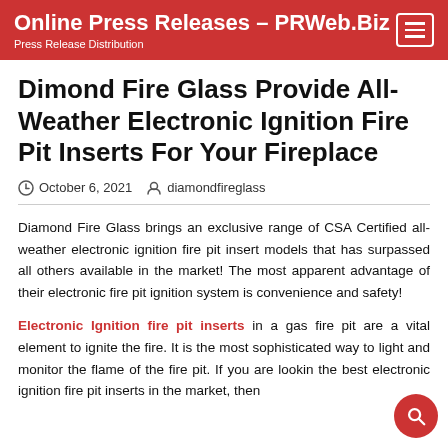Online Press Releases – PRWeb.Biz
Press Release Distribution
Dimond Fire Glass Provide All-Weather Electronic Ignition Fire Pit Inserts For Your Fireplace
October 6, 2021   diamondfireglass
Diamond Fire Glass brings an exclusive range of CSA Certified all-weather electronic ignition fire pit insert models that has surpassed all others available in the market! The most apparent advantage of their electronic fire pit ignition system is convenience and safety!
Electronic Ignition fire pit inserts in a gas fire pit are a vital element to ignite the fire. It is the most sophisticated way to light and monitor the flame of the fire pit. If you are looking the best electronic ignition fire pit inserts in the market, then